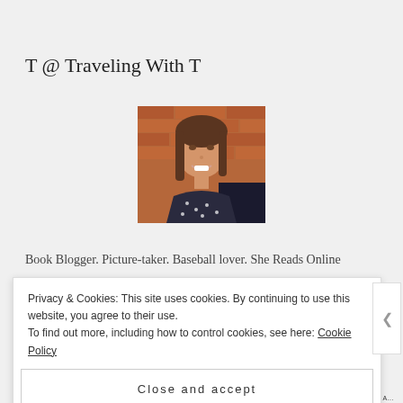T @ Traveling With T
[Figure (photo): Portrait photo of a smiling woman with long brown hair, wearing a dark polka-dot top, photographed against a brick wall background.]
Book Blogger. Picture-taker. Baseball lover. She Reads Online
Book Club. She is also a member of She Reads. She...
Privacy & Cookies: This site uses cookies. By continuing to use this website, you agree to their use.
To find out more, including how to control cookies, see here: Cookie Policy
Close and accept